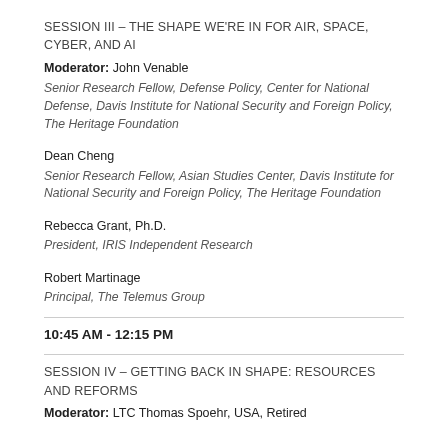SESSION III – THE SHAPE WE'RE IN FOR AIR, SPACE, CYBER, AND AI
Moderator: John Venable
Senior Research Fellow, Defense Policy, Center for National Defense, Davis Institute for National Security and Foreign Policy, The Heritage Foundation
Dean Cheng
Senior Research Fellow, Asian Studies Center, Davis Institute for National Security and Foreign Policy, The Heritage Foundation
Rebecca Grant, Ph.D.
President, IRIS Independent Research
Robert Martinage
Principal, The Telemus Group
10:45 AM - 12:15 PM
SESSION IV – GETTING BACK IN SHAPE: RESOURCES AND REFORMS
Moderator: LTC Thomas Spoehr, USA, Retired